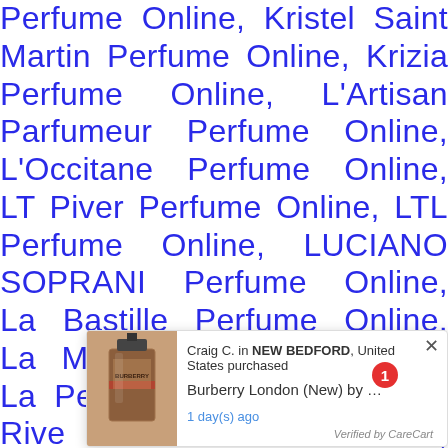Perfume Online, Kristel Saint Martin Perfume Online, Krizia Perfume Online, L'Artisan Parfumeur Perfume Online, L'Occitane Perfume Online, LT Piver Perfume Online, LTL Perfume Online, LUCIANO SOPRANI Perfume Online, La Bastille Perfume Online, La Martina Perfume Online, La Perla Perfume Online, La Rive Perfume Online, Lacoste Perfume Online, Lady Gaga Perfume Online, Lady Mac Steed Perfume Online, Lalique Perfume Online, Lamis Perfume Online, Lancetti Perfume Online, Lanvin Perfume Online, Larry Mahan Perfume Online, Laura Ashley
[Figure (screenshot): Popup notification showing a product purchase: Craig C. in NEW BEDFORD, United States purchased Burberry London (New) by ... 1 day(s) ago. Verified by CareCart. Includes a product image of a Burberry perfume bottle and a red badge with the number 1.]